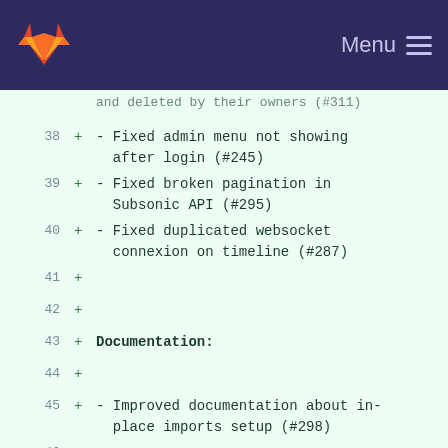GitLab navigation bar with logo and Menu button
and deleted by their owners (#311)
38 + - Fixed admin menu not showing after login (#245)
39 + - Fixed broken pagination in Subsonic API (#295)
40 + - Fixed duplicated websocket connexion on timeline (#287)
41 +
42 +
43 + Documentation:
44 +
45 + - Improved documentation about in-place imports setup (#298)
46 +
47 +
48 + Other:
49 +
50 + - Added Black and flake8 checks in CI to ensure consistent code styling and
51 + formatting (#307)